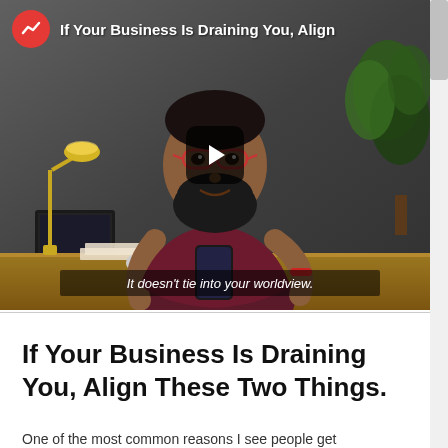[Figure (screenshot): Video thumbnail showing a man with beard and glasses in a dark maroon shirt, sitting at a desk with a laptop and lamp, with a plant in the background. Video title overlay reads 'If Your Business Is Draining You, Align' and subtitle caption reads 'It doesn't tie into your worldview.' A red circular icon with a trending chart is shown in the top left corner. A play button is visible in the center.]
If Your Business Is Draining You, Align These Two Things.
One of the most common reasons I see people get